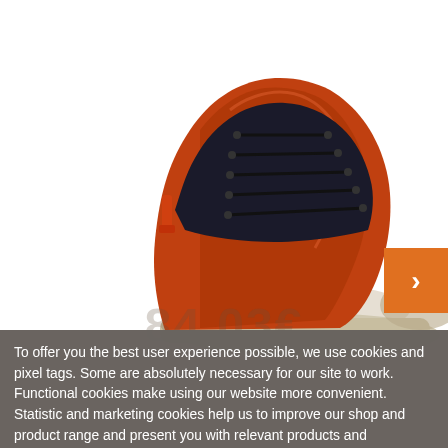[Figure (photo): Orange and black lace-up hiking boot / work boot shown from the side against a white background. The boot has an orange leather upper, black lace eyelets, black collar padding, and a gray sole.]
To offer you the best user experience possible, we use cookies and pixel tags. Some are absolutely necessary for our site to work. Functional cookies make using our website more convenient. Statistic and marketing cookies help us to improve our shop and product range and present you with relevant products and advertisements. If you're ok with that, then click "accept all" to agree to the use of all cookies. If you ever change your mind, you'll find all the options to change or withdraw your consent in our Privacy Policy.
More info ▾
Accept all